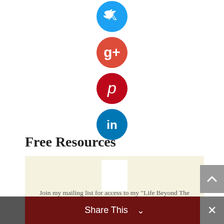[Figure (illustration): Four social media icon circles stacked vertically: Twitter (blue), Google+ (red-orange), Pinterest (dark red), LinkedIn (blue)]
Free Resources
[Figure (infographic): Beige/cream colored card with a small white rectangular placeholder image at top center and text below: Join my mailing list for access to my "Life Beyond The Picket Fence" toolkit, ONLY for subscribers!]
Join my mailing list for access to my "Life Beyond The Picket Fence" toolkit, ONLY for subscribers!
[Figure (infographic): Dark red bar with downward pointing notch/chevron shape and Share This toolbar at bottom with close X button]